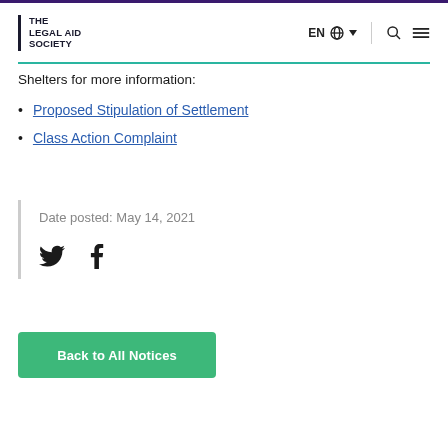THE LEGAL AID SOCIETY | EN (globe) (menu)
Shelters for more information:
Proposed Stipulation of Settlement
Class Action Complaint
Date posted: May 14, 2021
Back to All Notices